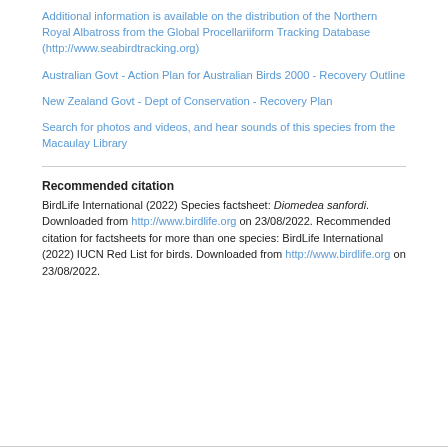Additional information is available on the distribution of the Northern Royal Albatross from the Global Procellariiform Tracking Database (http://www.seabirdtracking.org)
Australian Govt - Action Plan for Australian Birds 2000 - Recovery Outline
New Zealand Govt - Dept of Conservation - Recovery Plan
Search for photos and videos, and hear sounds of this species from the Macaulay Library
Recommended citation
BirdLife International (2022) Species factsheet: Diomedea sanfordi. Downloaded from http://www.birdlife.org on 23/08/2022. Recommended citation for factsheets for more than one species: BirdLife International (2022) IUCN Red List for birds. Downloaded from http://www.birdlife.org on 23/08/2022.